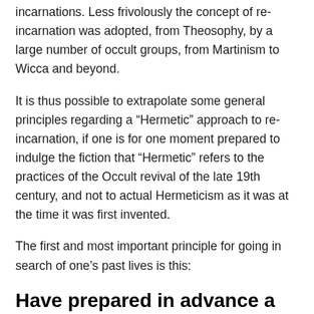incarnations. Less frivolously the concept of re-incarnation was adopted, from Theosophy, by a large number of occult groups, from Martinism to Wicca and beyond.
It is thus possible to extrapolate some general principles regarding a “Hermetic” approach to re-incarnation, if one is for one moment prepared to indulge the fiction that “Hermetic” refers to the practices of the Occult revival of the late 19th century, and not to actual Hermeticism as it was at the time it was first invented.
The first and most important principle for going in search of one’s past lives is this:
Have prepared in advance a strategy
for dealing with the Dweller On The